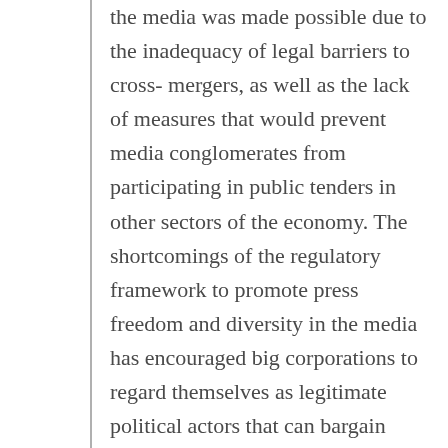the media was made possible due to the inadequacy of legal barriers to cross- mergers, as well as the lack of measures that would prevent media conglomerates from participating in public tenders in other sectors of the economy. The shortcomings of the regulatory framework to promote press freedom and diversity in the media has encouraged big corporations to regard themselves as legitimate political actors that can bargain with the government.

Media ownership was restructured